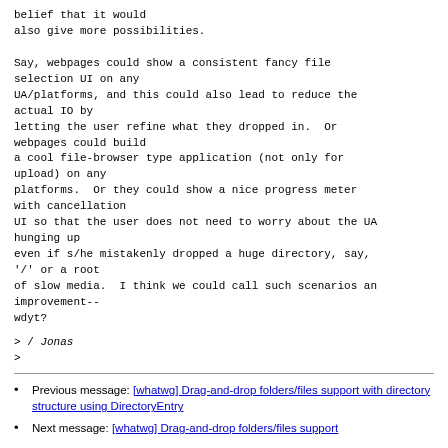belief that it would
also give more possibilities.

Say, webpages could show a consistent fancy file
selection UI on any
UA/platforms, and this could also lead to reduce the
actual IO by
letting the user refine what they dropped in.  Or
webpages could build
a cool file-browser type application (not only for
upload) on any
platforms.  Or they could show a nice progress meter
with cancellation
UI so that the user does not need to worry about the UA
hunging up
even if s/he mistakenly dropped a huge directory, say,
'/' or a root
of slow media.  I think we could call such scenarios an
improvement--
wdyt?
> / Jonas
>
Previous message: [whatwg] Drag-and-drop folders/files support with directory structure using DirectoryEntry
Next message: [whatwg] Drag-and-drop folders/files support